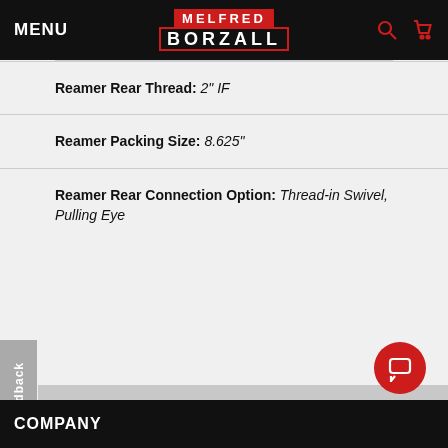MENU | MELFRED BORZALL
Reamer Rear Thread: 2" IF
Reamer Packing Size: 8.625"
Reamer Rear Connection Option: Thread-in Swivel, Pulling Eye
Downloads
Feedback
COMPANY